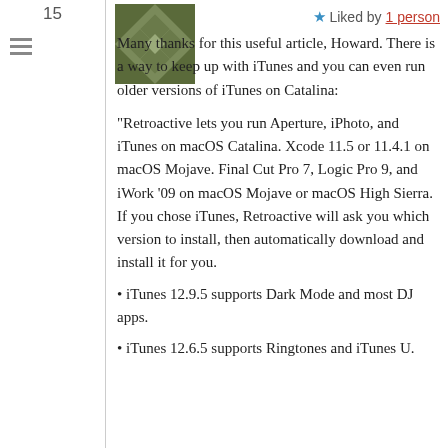15
[Figure (illustration): Quilted pattern avatar image in dark olive/green tones]
★ Liked by 1 person
Many thanks for this useful article, Howard. There is a way to keep up with iTunes and you can even run older versions of iTunes on Catalina:
“Retroactive lets you run Aperture, iPhoto, and iTunes on macOS Catalina. Xcode 11.5 or 11.4.1 on macOS Mojave. Final Cut Pro 7, Logic Pro 9, and iWork ’09 on macOS Mojave or macOS High Sierra.
If you chose iTunes, Retroactive will ask you which version to install, then automatically download and install it for you.
• iTunes 12.9.5 supports Dark Mode and most DJ apps.
• iTunes 12.6.5 supports Ringtones and iTunes U.